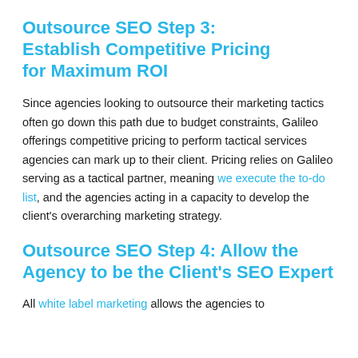Outsource SEO Step 3: Establish Competitive Pricing for Maximum ROI
Since agencies looking to outsource their marketing tactics often go down this path due to budget constraints, Galileo offerings competitive pricing to perform tactical services agencies can mark up to their client. Pricing relies on Galileo serving as a tactical partner, meaning we execute the to-do list, and the agencies acting in a capacity to develop the client's overarching marketing strategy.
Outsource SEO Step 4: Allow the Agency to be the Client's SEO Expert
All white label marketing allows the agencies to